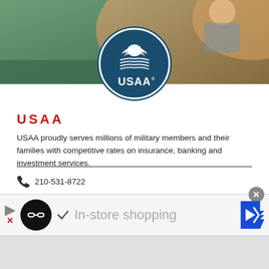[Figure (photo): Header background photo showing outdoor scene with green and earth tones, with USAA logo circle centered at bottom of image area]
[Figure (logo): USAA circular logo on dark teal/navy background with white eagle and wave design, reading USAA with registered trademark symbol]
USAA
USAA proudly serves millions of military members and their families with competitive rates on insurance, banking and investment services.
210-531-8722
Visit Website
9800 Fredericksburg Rd. San Antonio, TX 78288
[Figure (other): Social media icons: Facebook, Twitter, Instagram in red circles]
[Figure (other): Advertisement banner: black circle logo with chain link icon, checkmark, In-store shopping text, blue arrow navigation icon. Close X button top right.]